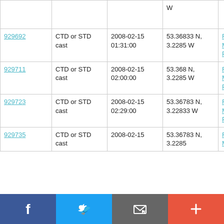| ID | Type | Date/Time | Location | Cruise |
| --- | --- | --- | --- | --- |
|  |  |  | W |  |
| 929692 | CTD or STD cast | 2008-02-15 01:31:00 | 53.36833 N, 3.2285 W | RV Prince Madog PD04/08 |
| 929711 | CTD or STD cast | 2008-02-15 02:00:00 | 53.368 N, 3.2285 W | RV Prince Madog PD04/08 |
| 929723 | CTD or STD cast | 2008-02-15 02:29:00 | 53.36783 N, 3.22833 W | RV Prince Madog PD04/08 |
| 929735 | CTD or STD cast | 2008-02-15 | 53.36783 N, 3.2285 | RV Prince Madog |
[Figure (infographic): Social sharing bar with Facebook, Twitter, email, and plus buttons]